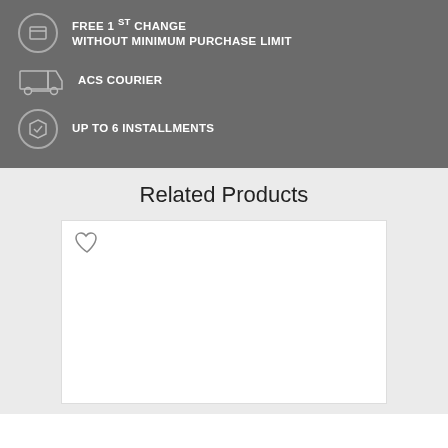FREE 1st CHANGE WITHOUT MINIMUM PURCHASE LIMIT
ACS COURIER
UP TO 6 INSTALLMENTS
Related Products
[Figure (other): White product card with heart/wishlist icon in top-left corner]